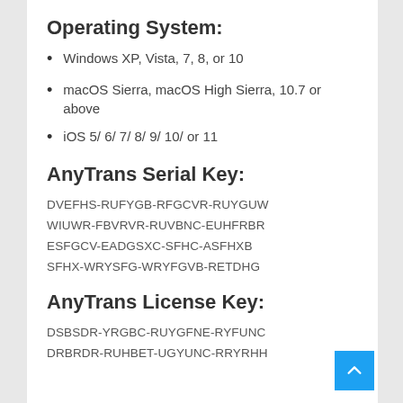Operating System:
Windows XP, Vista, 7, 8, or 10
macOS Sierra, macOS High Sierra, 10.7 or above
iOS 5/ 6/ 7/ 8/ 9/ 10/ or 11
AnyTrans Serial Key:
DVEFHS-RUFYGB-RFGCVR-RUYGUW
WIUWR-FBVRVR-RUVBNC-EUHFRBR
ESFGCV-EADGSXC-SFHC-ASFHXB
SFHX-WRYSFG-WRYFGVB-RETDHG
AnyTrans License Key:
DSBSDR-YRGBC-RUYGFNE-RYFUNC
DRBRDR-RUHBET-UGYUNC-RRYRHH